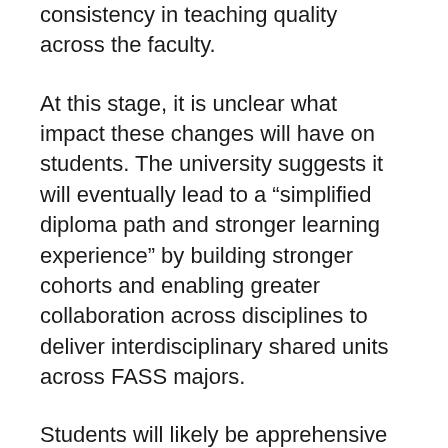consistency in teaching quality across the faculty.
At this stage, it is unclear what impact these changes will have on students. The university suggests it will eventually lead to a “simplified diploma path and stronger learning experience” by building stronger cohorts and enabling greater collaboration across disciplines to deliver interdisciplinary shared units across FASS majors.
Students will likely be apprehensive given the poor reception of FASS1000 and FASS3999.
Future FASS came under fire last year for being a concept change proposal, leading to